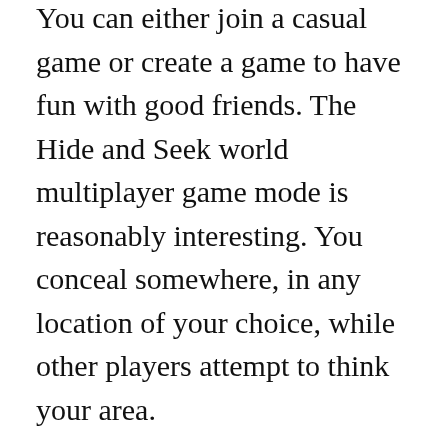You can either join a casual game or create a game to have fun with good friends. The Hide and Seek world multiplayer game mode is reasonably interesting. You conceal somewhere, in any location of your choice, while other players attempt to think your area.
For this reason, there's one hider and numerous candidates. Each candidate makes points depending upon how close their guess is. The hunter with the acmes after a game session wins. To sign up with a video game, merely enter your name, select a color and sign up with. You don't need to sign up to join a random multiplayer video game. Sign-up is just required if you are playing with friends.
On the Hide & Seek World site, there are live leaderboards for players with the best scores and the